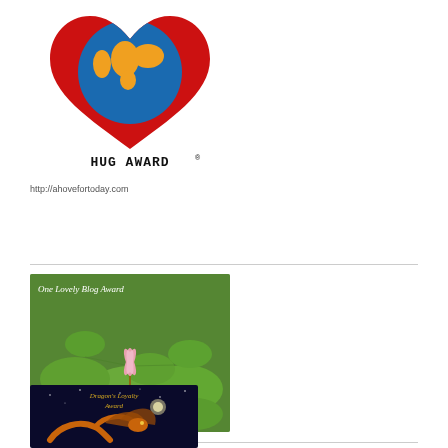[Figure (illustration): HUG AWARD logo: a red heart shape with a globe/earth image showing continents in yellow/orange, with text 'HUG AWARD' below in bold black pixel font]
http://ahovefortoday.com
[Figure (photo): One Lovely Blog Award image: photograph of lily pads with a pink lotus flower on water, with text 'One Lovely Blog Award' at top and bottom in white]
[Figure (illustration): Dragon's Loyalty Award: dark blue/night scene with a golden/orange dragon, text reads 'Dragon's Loyalty Award' in gold cursive at top]